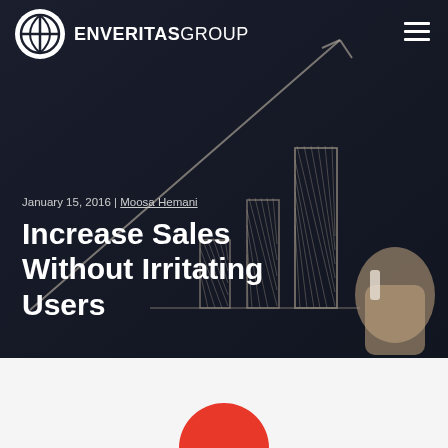ENVERITAS GROUP
[Figure (photo): Dark chalkboard background with hand-drawn bar chart showing increasing bars with an upward trending arrow, and a hand holding chalk in bottom right]
January 15, 2016 | Moosa Hemani
Increase Sales Without Irritating Users
[Figure (illustration): Partial red circle peeking up from the bottom of the white section]